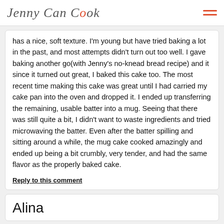Jenny Can Cook
has a nice, soft texture. I'm young but have tried baking a lot in the past, and most attempts didn't turn out too well. I gave baking another go(with Jenny's no-knead bread recipe) and it since it turned out great, I baked this cake too. The most recent time making this cake was great until I had carried my cake pan into the oven and dropped it. I ended up transferring the remaining, usable batter into a mug. Seeing that there was still quite a bit, I didn't want to waste ingredients and tried microwaving the batter. Even after the batter spilling and sitting around a while, the mug cake cooked amazingly and ended up being a bit crumbly, very tender, and had the same flavor as the properly baked cake.
Reply to this comment
Alina